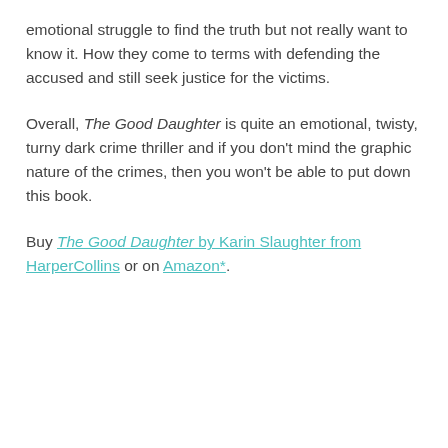emotional struggle to find the truth but not really want to know it. How they come to terms with defending the accused and still seek justice for the victims.
Overall, The Good Daughter is quite an emotional, twisty, turny dark crime thriller and if you don't mind the graphic nature of the crimes, then you won't be able to put down this book.
Buy The Good Daughter by Karin Slaughter from HarperCollins or on Amazon*.